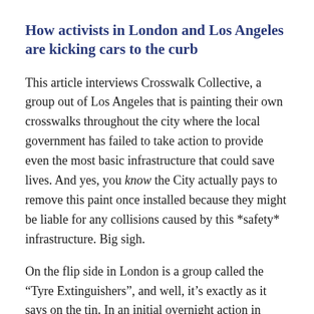How activists in London and Los Angeles are kicking cars to the curb
This article interviews Crosswalk Collective, a group out of Los Angeles that is painting their own crosswalks throughout the city where the local government has failed to take action to provide even the most basic infrastructure that could save lives. And yes, you know the City actually pays to remove this paint once installed because they might be liable for any collisions caused by this *safety* infrastructure. Big sigh.
On the flip side in London is a group called the “Tyre Extinguishers”, and well, it’s exactly as it says on the tin. In an initial overnight action in March 2022, they deflated the tires of SUVs in 13 U.K. cities. The group’s aim? “To make it impossible to own a huge polluting